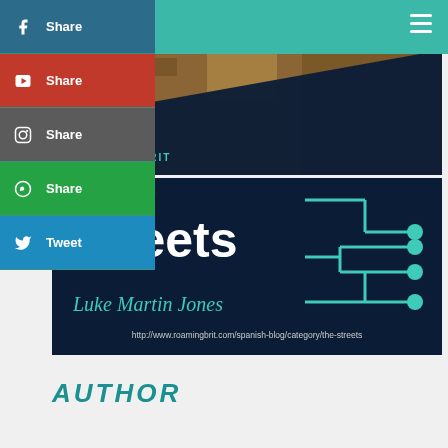Share (Facebook) | Share (YouTube) | Share (Instagram) | Share (WhatsApp) | Tweet (Twitter)
[Figure (screenshot): Book cover for 'The Streets' by Luke Martin Jones on Roaming Brit blog. Dark navy background with large white bold text 'The Streets', teal 'ROAMING BRIT' label, teal cursive author name 'Luke Martin Jones', circuit diagram graphic in teal, and a background photo of a narrow stone alleyway. URL: http://www.roamingbrit.com/spanish-blog/category/the-streets]
AUTHOR